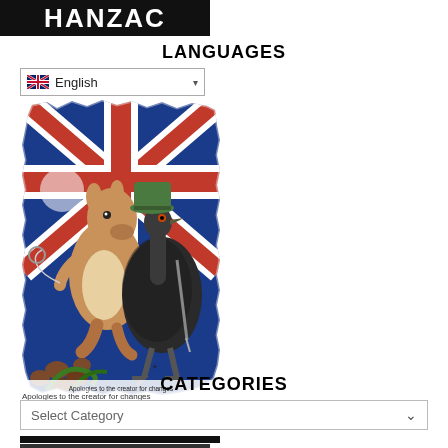HANZAC
LANGUAGES
English
[Figure (illustration): Illustrated artwork showing anthropomorphic kangaroo and emu characters in military style, holding weapons, set against a stylized Australian/New Zealand flag (Union Jack based) background in red, white and blue. Caption at bottom reads: Apologies to the creator for changes.]
Apologies to the creator for changes
CATEGORIES
Select Category